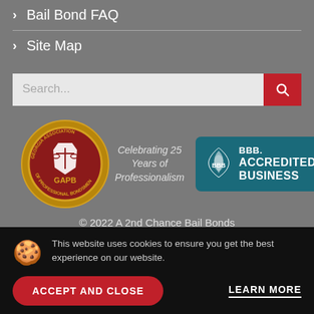> Bail Bond FAQ
> Site Map
[Figure (other): Search bar with red search button]
[Figure (logo): GAPB Georgia Association of Professional Bondsmen seal - Celebrating 25 Years of Professionalism]
[Figure (logo): BBB Accredited Business badge]
© 2022 A 2nd Chance Bail Bonds
This website uses cookies to ensure you get the best experience on our website.
ACCEPT AND CLOSE
LEARN MORE